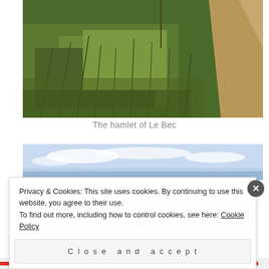[Figure (photo): A photo of grassy meadow/field with a dirt path visible on the right side. Green tall grass fills most of the frame. The hamlet of Le Bec.]
The hamlet of Le Bec
[Figure (photo): Partial photo showing blue sky with white clouds, bottom portion of image.]
Privacy & Cookies: This site uses cookies. By continuing to use this website, you agree to their use.
To find out more, including how to control cookies, see here: Cookie Policy
Close and accept